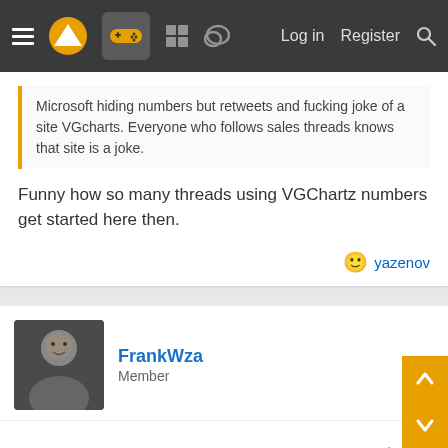Navigation bar with hamburger menu, logo, gamepad icon, grid icon, chat icon, Log in, Register, Search
Microsoft hiding numbers but retweets and fucking joke of a site VGcharts. Everyone who follows sales threads knows that site is a joke.
Funny how so many threads using VGChartz numbers get started here then.
yazenov
FrankWza
Member
Apr 23, 2022
#231
MC68000 said: ⬆